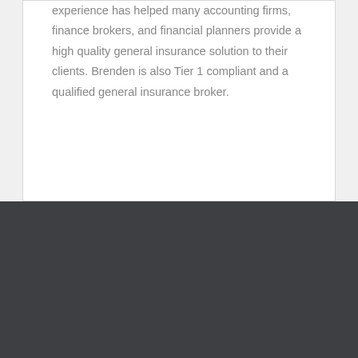experience has helped many accounting firms, finance brokers, and financial planners provide a high quality general insurance solution to their clients. Brenden is also Tier 1 compliant and a qualified general insurance broker.
SERVICES
Body Corporate Services
Building & Construction Services